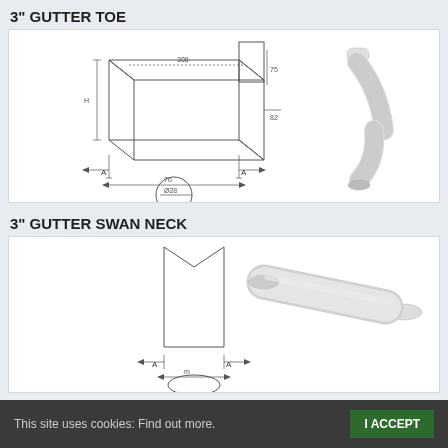3" GUTTER TOE
[Figure (engineering-diagram): Technical drawing of a 3 inch gutter toe component showing orthographic views with dimension lines labeled A, and a 3D rendered image of the curved pipe connector piece on the right side]
3" GUTTER SWAN NECK
[Figure (engineering-diagram): Technical drawing of a 3 inch gutter swan neck component showing front view with dimension lines labeled A, and a 3D rendered image of a straight cylindrical pipe on the right side]
This site uses cookies: Find out more.